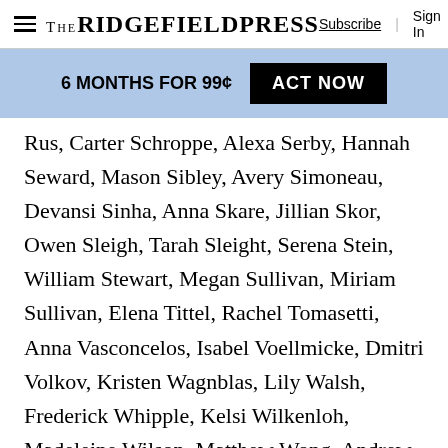The Ridgefield Press — Subscribe | Sign In
6 MONTHS FOR 99¢  ACT NOW
Rus, Carter Schroppe, Alexa Serby, Hannah Seward, Mason Sibley, Avery Simoneau, Devansi Sinha, Anna Skare, Jillian Skor, Owen Sleigh, Tarah Sleight, Serena Stein, William Stewart, Megan Sullivan, Miriam Sullivan, Elena Tittel, Rachel Tomasetti, Anna Vasconcelos, Isabel Voellmicke, Dmitri Volkov, Kristen Wagnblas, Lily Walsh, Frederick Whipple, Kelsi Wilkenloh, Madeleine Wilson, Matthew Wong, Andrew Yu, Alexis Zacharakos, Stephanie Zacharakos, Emily Zagorec, Julia Zangre, Matthew Zhang, Lisa van